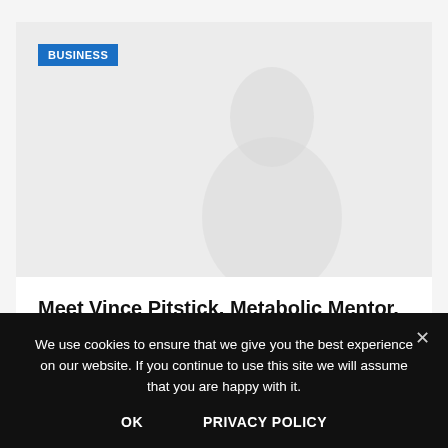[Figure (photo): Article thumbnail image area with light gray background and faint silhouette of a person on the right side]
BUSINESS
Meet Vince Pitstick, Metabolic Mentor, and Influencer,
We use cookies to ensure that we give you the best experience on our website. If you continue to use this site we will assume that you are happy with it.
OK    PRIVACY POLICY